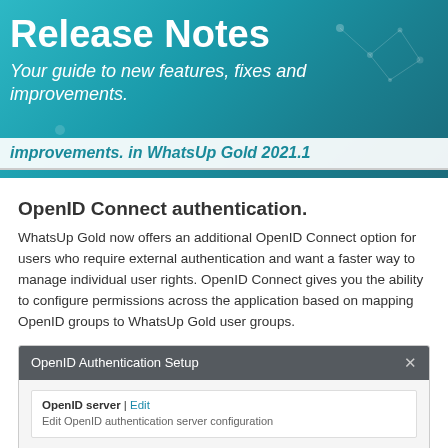Release Notes
Your guide to new features, fixes and improvements.
improvements. in WhatsUp Gold 2021.1
OpenID Connect authentication.
WhatsUp Gold now offers an additional OpenID Connect option for users who require external authentication and want a faster way to manage individual user rights. OpenID Connect gives you the ability to configure permissions across the application based on mapping OpenID groups to WhatsUp Gold user groups.
[Figure (screenshot): OpenID Authentication Setup dialog box showing OpenID server Edit link and 'Edit OpenID authentication server configuration' text, and WhatsUp Gold Group Access section header]